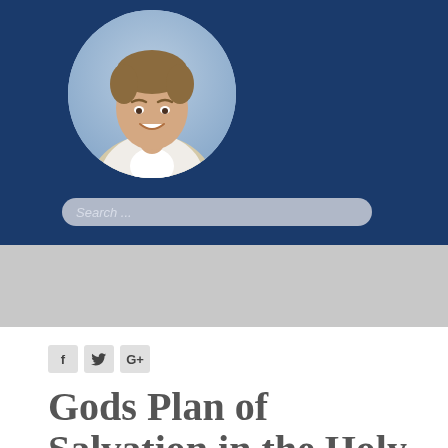[Figure (photo): Circular profile photo of a smiling young man in a light-colored jacket, set against a blue background header]
Search ...
[Figure (screenshot): Gray navigation/banner strip below the blue header]
[Figure (infographic): Social media share buttons: Facebook (f), Twitter (bird icon), Google+ (G+)]
Gods Plan of Salvation in the Holy